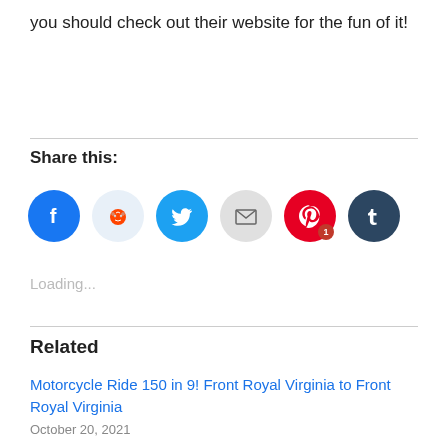you should check out their website for the fun of it!
Share this:
[Figure (other): Social sharing icons: Facebook, Reddit, Twitter, Email, Pinterest (with badge 1), Tumblr]
Loading...
Related
Motorcycle Ride 150 in 9! Front Royal Virginia to Front Royal Virginia
October 20, 2021